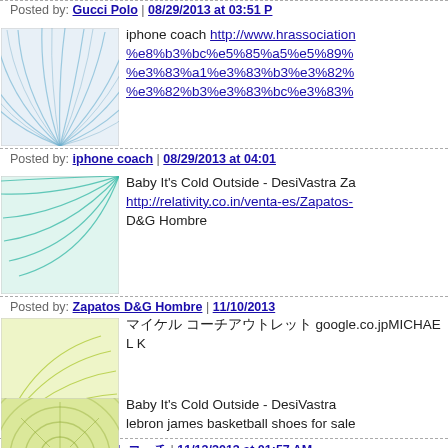Posted by: Gucci Polo | 08/29/2013 at 03:51 P
[Figure (illustration): Blue decorative fan/wave pattern avatar image]
iphone coach http://www.hrassociation %e8%b3%bc%e5%85%a5%e5%89% %e3%83%a1%e3%83%b3%e3%82% %e3%82%b3%e3%83%bc%e3%83%
Posted by: iphone coach | 08/29/2013 at 04:01
[Figure (illustration): Teal/green decorative wave pattern avatar image]
Baby It's Cold Outside - DesiVastra Za http://relativity.co.in/venta-es/Zapatos- D&G Hombre
Posted by: Zapatos D&G Hombre | 11/10/2013
[Figure (illustration): Yellow-green decorative starburst/wave pattern avatar image]
マイケル コーチアウトレット google.co.jpMICHAEL K
Posted by: マイケル コーチ | 11/13/2013 at 01:57 AM
[Figure (illustration): Olive/yellow-green decorative starburst pattern avatar image]
Baby It's Cold Outside - DesiVastra lebron james basketball shoes for sale